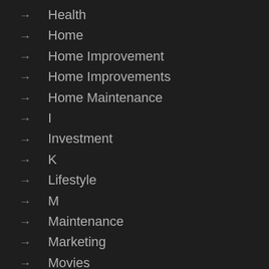Health
Home
Home Improvement
Home Improvements
Home Maintenance
I
Investment
K
Lifestyle
M
Maintenance
Marketing
Movies
N